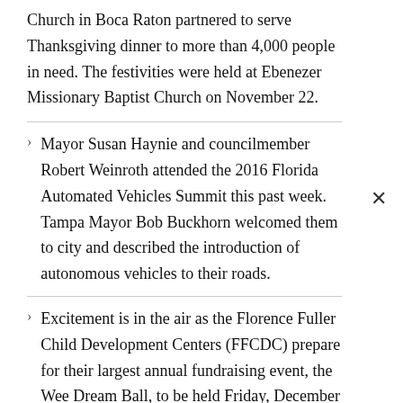Church in Boca Raton partnered to serve Thanksgiving dinner to more than 4,000 people in need. The festivities were held at Ebenezer Missionary Baptist Church on November 22.
Mayor Susan Haynie and councilmember Robert Weinroth attended the 2016 Florida Automated Vehicles Summit this past week. Tampa Mayor Bob Buckhorn welcomed them to city and described the introduction of autonomous vehicles to their roads.
Excitement is in the air as the Florence Fuller Child Development Centers (FFCDC) prepare for their largest annual fundraising event, the Wee Dream Ball, to be held Friday, December